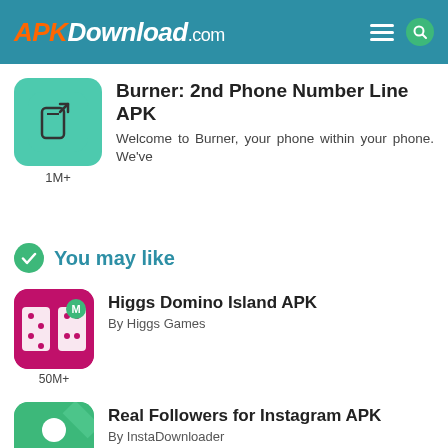APKDownload.com
Burner: 2nd Phone Number Line APK
Welcome to Burner, your phone within your phone. We've
1M+
You may like
Higgs Domino Island APK
By Higgs Games
50M+
Real Followers for Instagram APK
By InstaDownloader
500K+
SurfFast VPN - Ulimited Proxy APK
By CleanMaster